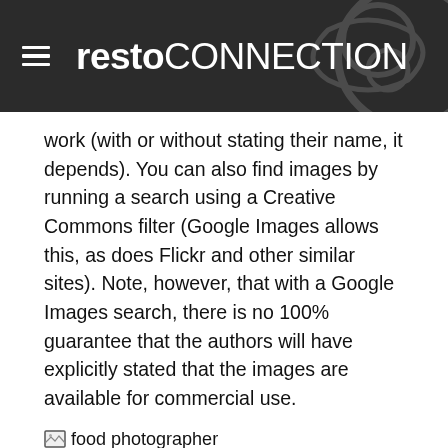restoCONNECTION
work (with or without stating their name, it depends). You can also find images by running a search using a Creative Commons filter (Google Images allows this, as does Flickr and other similar sites). Note, however, that with a Google Images search, there is no 100% guarantee that the authors will have explicitly stated that the images are available for commercial use.
[Figure (photo): Broken image placeholder with alt text 'food photographer']